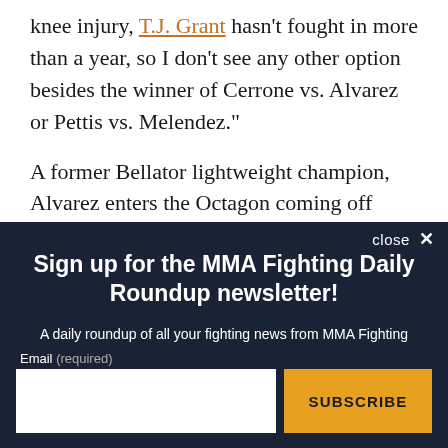knee injury, T.J. Grant hasn't fought in more than a year, so I don't see any other option besides the winner of Cerrone vs. Alvarez or Pettis vs. Melendez."
A former Bellator lightweight champion, Alvarez enters the Octagon coming off wins over Michael Chandler, Patricky Freire and Shinya Aoki, while Cerrone looks for his fifth win
Sign up for the MMA Fighting Daily Roundup newsletter!
A daily roundup of all your fighting news from MMA Fighting
Email (required)
By submitting your email, you agree to our Terms and Privacy Notice. You can opt out at any time. This site is protected by reCAPTCHA and the Google Privacy Policy and Terms of Service apply.